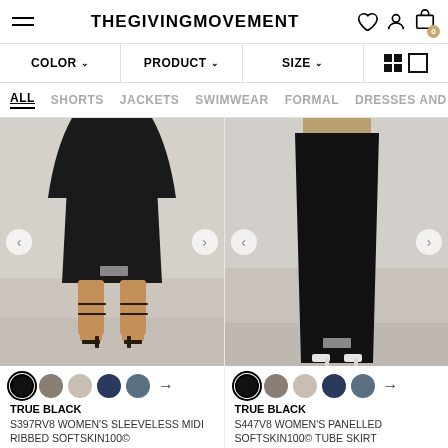THEGIVINGMOVEMENT
[Figure (screenshot): E-commerce navigation bar with COLOR, PRODUCT, SIZE filter dropdowns and grid view toggle icons]
[Figure (screenshot): Category navigation tabs: ALL (active), SHORTS, JACKETS, SWIMWEAR, FORMAL, DRESSES AND S]
[Figure (photo): Model wearing black sleeveless midi ribbed skirt with strappy black heels, showing lower half of body]
[Figure (photo): Model wearing black panelled tube skirt with white heels, showing lower half of body]
TRUE BLACK
S397RV8 WOMEN'S SLEEVELESS MIDI RIBBED SOFTSKIN100©
TRUE BLACK
S447V8 WOMEN'S PANELLED SOFTSKIN100© TUBE SKIRT